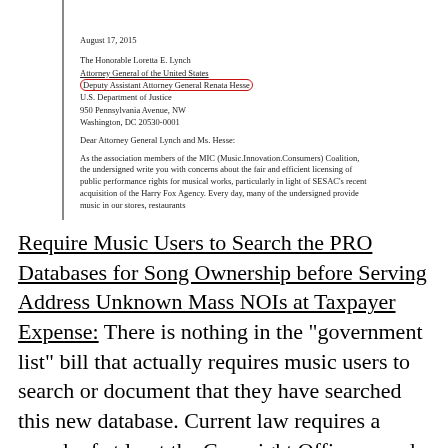August 17, 2015
The Honorable Loretta E. Lynch
Attorney General of the United States
Deputy Assistant Attorney General Renata Hesse
U.S. Department of Justice
950 Pennsylvania Avenue, NW
Washington, DC 20530-0001
Dear Attorney General Lynch and Ms. Hesse:
As the association members of the MIC (Music.Innovation.Consumers) Coalition, the undersigned write you with concerns about the fair and efficient licensing of public performance rights for musical works, particularly in light of SESAC's recent acquisition of the Harry Fox Agency. Every day, many of the undersigned provide music in our stores, restaurants
Require Music Users to Search the PRO Databases for Song Ownership before Serving Address Unknown Mass NOIs at Taxpayer Expense:
There is nothing in the “government list” bill that actually requires music users to search or document that they have searched this new database. Current law requires a search of at least the Copyright Office records (which Amazon, Google, Pandora, Spotify, Microsoft, iHeart and others are supposedly doing